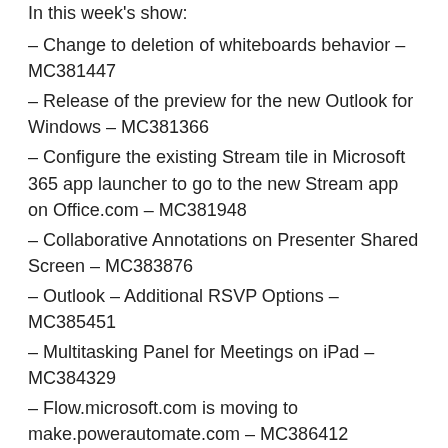In this week's show:
– Change to deletion of whiteboards behavior – MC381447
– Release of the preview for the new Outlook for Windows – MC381366
– Configure the existing Stream tile in Microsoft 365 app launcher to go to the new Stream app on Office.com – MC381948
– Collaborative Annotations on Presenter Shared Screen – MC383876
– Outlook – Additional RSVP Options – MC385451
– Multitasking Panel for Meetings on iPad – MC384329
– Flow.microsoft.com is moving to make.powerautomate.com – MC386412